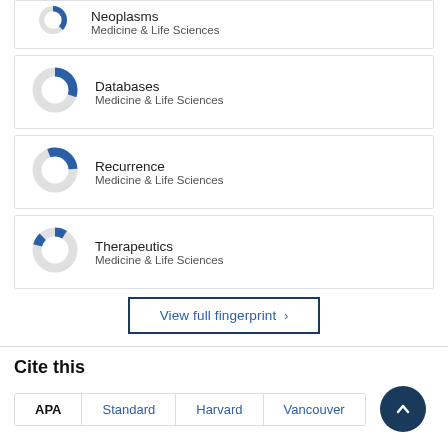[Figure (donut-chart): Partial donut chart for Neoplasms, Medicine & Life Sciences]
[Figure (donut-chart): Donut chart for Databases, Medicine & Life Sciences, roughly 30% filled in blue]
[Figure (donut-chart): Donut chart for Recurrence, Medicine & Life Sciences, roughly 25% filled in blue]
[Figure (donut-chart): Donut chart for Therapeutics, Medicine & Life Sciences, roughly 10% filled in blue]
View full fingerprint
Cite this
APA | Standard | Harvard | Vancouver